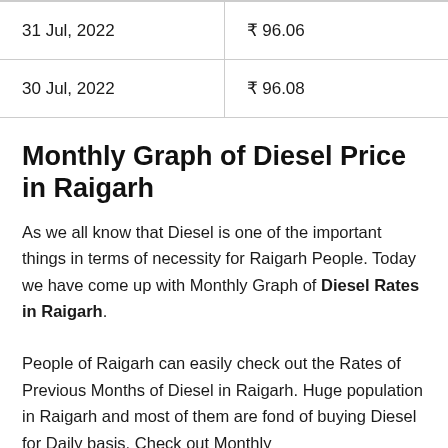| Date | Price |
| --- | --- |
| 31 Jul, 2022 | ₹ 96.06 |
| 30 Jul, 2022 | ₹ 96.08 |
Monthly Graph of Diesel Price in Raigarh
As we all know that Diesel is one of the important things in terms of necessity for Raigarh People. Today we have come up with Monthly Graph of Diesel Rates in Raigarh.
People of Raigarh can easily check out the Rates of Previous Months of Diesel in Raigarh. Huge population in Raigarh and most of them are fond of buying Diesel for Daily basis. Check out Monthly